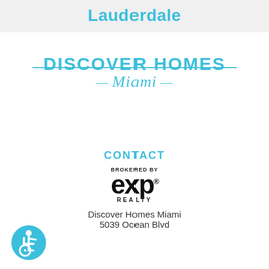Lauderdale
[Figure (logo): Discover Homes Miami logo with horizontal teal lines on either side of 'DISCOVER HOMES' in bold teal uppercase, and 'Miami' in teal italic script below with dashes on either side]
CONTACT
[Figure (logo): eXp Realty logo: 'BROKERED BY' in small caps above large bold 'exp' with registered trademark, and 'REALTY' in small caps below]
Discover Homes Miami
5039 Ocean Blvd
[Figure (illustration): Accessibility/wheelchair icon: blue circle with white figure in wheelchair]